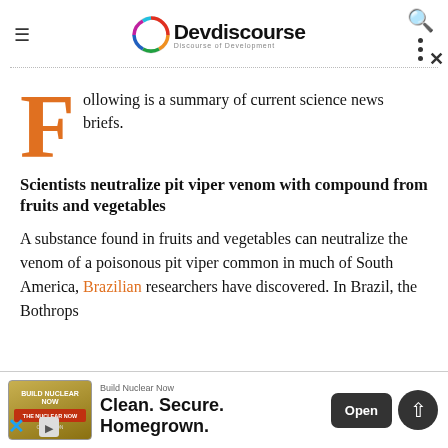Devdiscourse — Discourse of Development
Following is a summary of current science news briefs.
Scientists neutralize pit viper venom with compound from fruits and vegetables
A substance found in fruits and vegetables can neutralize the venom of a poisonous pit viper common in much of South America, Brazilian researchers have discovered. In Brazil, the Bothrops
[Figure (screenshot): Advertisement banner: Build Nuclear Now — Clean. Secure. Homegrown. with Open button]